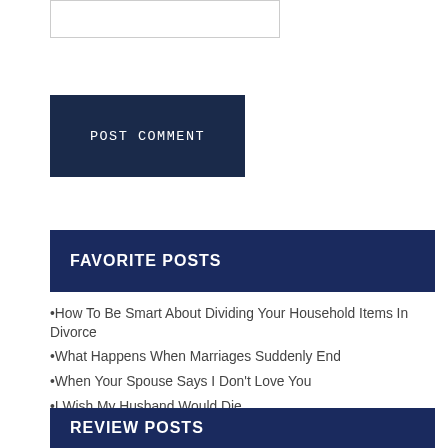[Figure (other): Input/text field box (comment form field)]
POST COMMENT
FAVORITE POSTS
•How To Be Smart About Dividing Your Household Items In Divorce
•What Happens When Marriages Suddenly End
•When Your Spouse Says I Don't Love You
•I Wish My Husband Would Die
•Are You Tolerating A Sexless Marriage?
REVIEW POSTS